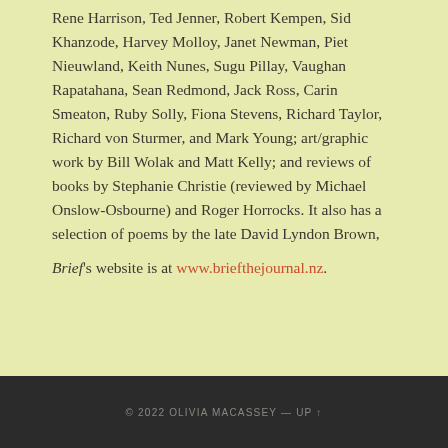Rene Harrison, Ted Jenner, Robert Kempen, Sid Khanzode, Harvey Molloy, Janet Newman, Piet Nieuwland, Keith Nunes, Sugu Pillay, Vaughan Rapatahana, Sean Redmond, Jack Ross, Carin Smeaton, Ruby Solly, Fiona Stevens, Richard Taylor, Richard von Sturmer, and Mark Young; art/graphic work by Bill Wolak and Matt Kelly; and reviews of books by Stephanie Christie (reviewed by Michael Onslow-Osbourne) and Roger Horrocks. It also has a selection of poems by the late David Lyndon Brown,
Brief's website is at www.briefthejournal.nz.
© 2022 OLIVIA MACASSEY — UP ↑